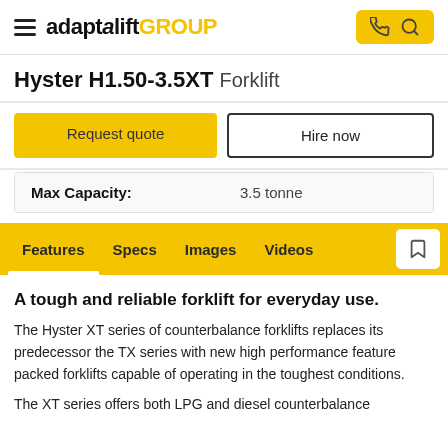adaptalift GROUP
Hyster H1.50-3.5XT Forklift
Request quote
Hire now
| Max Capacity: | 3.5 tonne |
| --- | --- |
Features | Specs | Images | Videos
A tough and reliable forklift for everyday use.
The Hyster XT series of counterbalance forklifts replaces its predecessor the TX series with new high performance feature packed forklifts capable of operating in the toughest conditions.
The XT series offers both LPG and diesel counterbalance